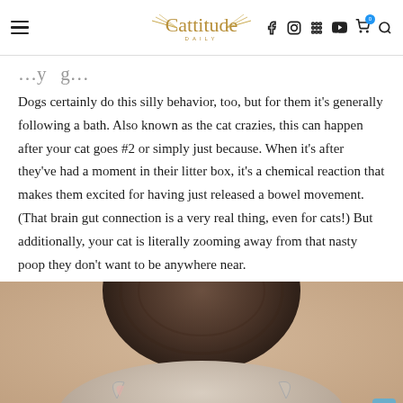Cattitude Daily — navigation header with hamburger menu, logo, and icons
…y … g…
Dogs certainly do this silly behavior, too, but for them it's generally following a bath. Also known as the cat crazies, this can happen after your cat goes #2 or simply just because. When it's after they've had a moment in their litter box, it's a chemical reaction that makes them excited for having just released a bowel movement. (That brain gut connection is a very real thing, even for cats!) But additionally, your cat is literally zooming away from that nasty poop they don't want to be anywhere near.
[Figure (photo): Close-up photo of a cat from above, showing the top of a dark tabby cat's head and another lighter cat below it, on a beige/peach background.]